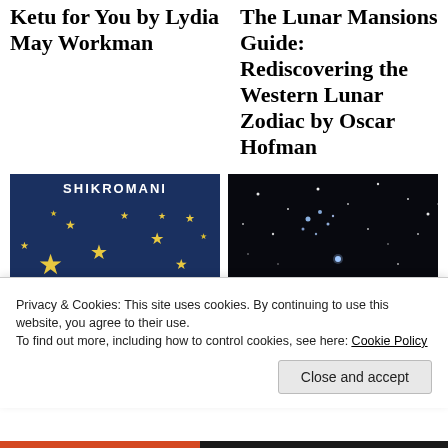Ketu for You by Lydia May Workman
The Lunar Mansions Guide: Rediscovering the Western Lunar Zodiac by Oscar Hofman
[Figure (photo): Book cover with gold stars on dark blue background, text 'SHIKROMANI' at top]
[Figure (photo): Night sky photo with stars and partial text 'The Nadia Astrologer' overlaid at bottom]
Advertisements
Privacy & Cookies: This site uses cookies. By continuing to use this website, you agree to their use.
To find out more, including how to control cookies, see here: Cookie Policy
Close and accept